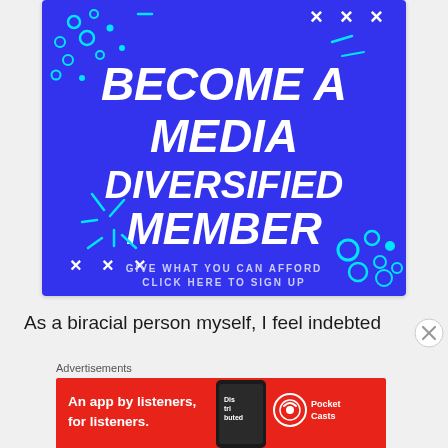[Figure (illustration): Blue background promotional banner reading 'BECOME A MEDIA DIVERSIFIED MEMBER' in large white bold italic text with teal decorative dots, circles, and X marks. Subtitle: 'GIVE WHAT YOU CAN AFFORD CLICK HERE TO SIGN UP']
As a biracial person myself, I feel indebted
Advertisements
[Figure (illustration): Red advertisement banner for Pocket Casts app. Text: 'An app by listeners, for listeners.' with a phone showing 'Distributed' app and Pocket Casts logo with headphone icon.]